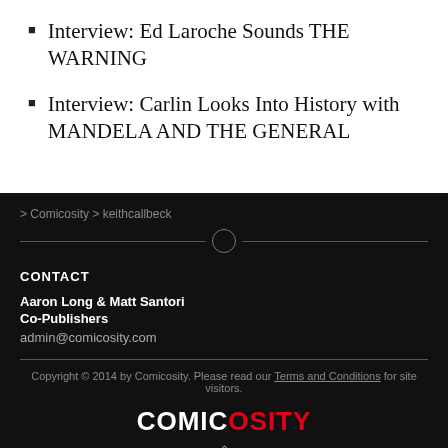Interview: Ed Laroche Sounds THE WARNING
Interview: Carlin Looks Into History with MANDELA AND THE GENERAL
> Comicosity > keithcallbeck
CONTACT
Aaron Long & Matt Santori
Co-Publishers
admin@comicosity.com
Copyright © 2014 by Comicosity. Please read our Terms and Conditions for site visitors.
COMICOSITY